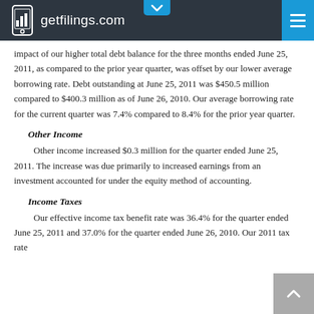getfilings.com
impact of our higher total debt balance for the three months ended June 25, 2011, as compared to the prior year quarter, was offset by our lower average borrowing rate. Debt outstanding at June 25, 2011 was $450.5 million compared to $400.3 million as of June 26, 2010. Our average borrowing rate for the current quarter was 7.4% compared to 8.4% for the prior year quarter.
Other Income
Other income increased $0.3 million for the quarter ended June 25, 2011. The increase was due primarily to increased earnings from an investment accounted for under the equity method of accounting.
Income Taxes
Our effective income tax benefit rate was 36.4% for the quarter ended June 25, 2011 and 37.0% for the quarter ended June 26, 2010. Our 2011 tax rate